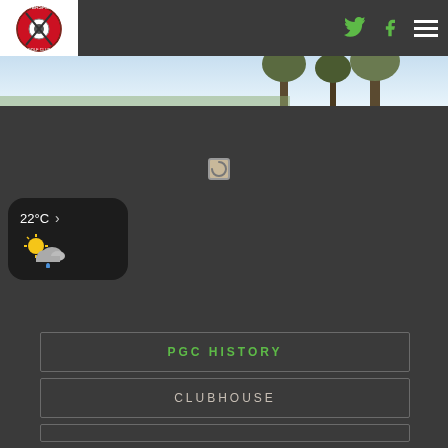Petersfield Golf Club header with logo, Twitter icon, Facebook icon, and hamburger menu
[Figure (photo): Outdoor golf course scenery with trees and sky, partial view]
[Figure (other): Small loading spinner / placeholder image]
[Figure (infographic): Weather widget showing 22°C with partly cloudy and rain icon]
PGC HISTORY
CLUBHOUSE